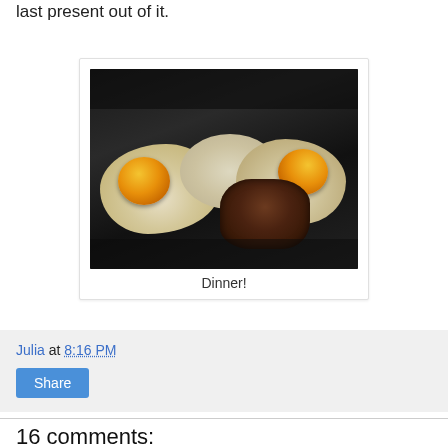last present out of it.
[Figure (photo): Two fried eggs with orange yolks and a browned meat patty cooking in a dark cast iron skillet, with caption 'Dinner!']
Dinner!
Julia at 8:16 PM
Share
16 comments: